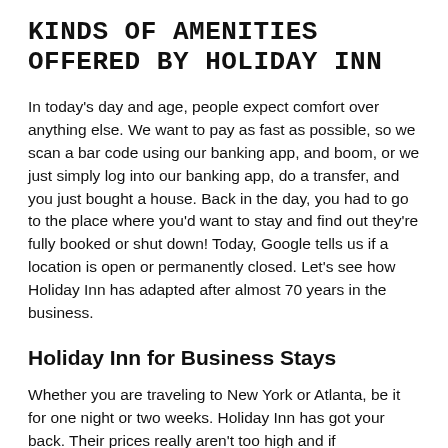KINDS OF AMENITIES OFFERED BY HOLIDAY INN
In today's day and age, people expect comfort over anything else. We want to pay as fast as possible, so we scan a bar code using our banking app, and boom, or we just simply log into our banking app, do a transfer, and you just bought a house. Back in the day, you had to go to the place where you'd want to stay and find out they're fully booked or shut down! Today, Google tells us if a location is open or permanently closed. Let's see how Holiday Inn has adapted after almost 70 years in the business.
Holiday Inn for Business Stays
Whether you are traveling to New York or Atlanta, be it for one night or two weeks. Holiday Inn has got your back. Their prices really aren't too high and if convenience is what you want, look no further. In the